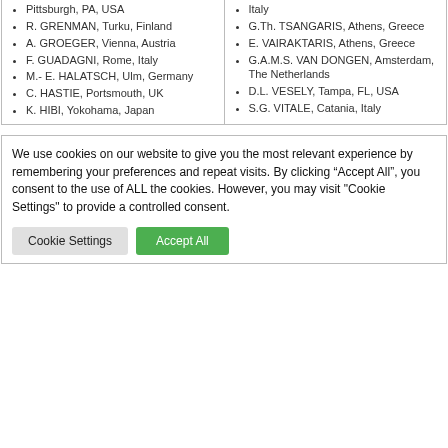Pittsburgh, PA, USA
R. GRENMAN, Turku, Finland
A. GROEGER, Vienna, Austria
F. GUADAGNI, Rome, Italy
M.- E. HALATSCH, Ulm, Germany
C. HASTIE, Portsmouth, UK
K. HIBI, Yokohama, Japan
Italy
G.Th. TSANGARIS, Athens, Greece
E. VAIRAKTARIS, Athens, Greece
G.A.M.S. VAN DONGEN, Amsterdam, The Netherlands
D.L. VESELY, Tampa, FL, USA
S.G. VITALE, Catania, Italy
We use cookies on our website to give you the most relevant experience by remembering your preferences and repeat visits. By clicking “Accept All”, you consent to the use of ALL the cookies. However, you may visit "Cookie Settings" to provide a controlled consent.
Cookie Settings | Accept All